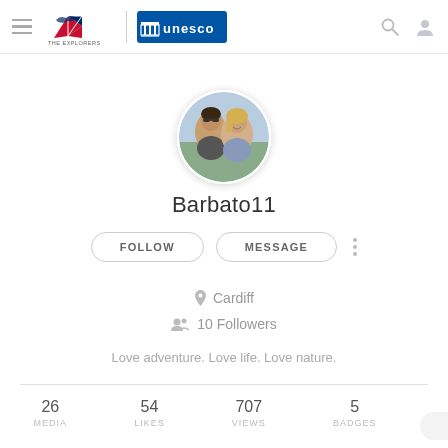[Figure (logo): The Explorers and UNESCO logos in navigation header]
[Figure (photo): Circular profile photo of two people (couple) smiling]
Barbato11
FOLLOW  MESSAGE
Cardiff
10 Followers
Love adventure. Love life. Love nature.
| 26 MEDIA | 54 LIKES | 707 VIEWS | 5 BADGES |
| --- | --- | --- | --- |